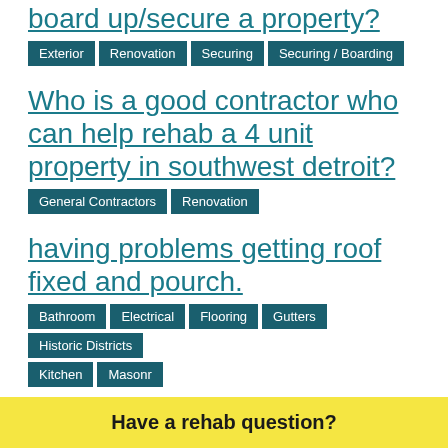board up/secure a property?
Exterior | Renovation | Securing | Securing / Boarding
Who is a good contractor who can help rehab a 4 unit property in southwest detroit?
General Contractors | Renovation
having problems getting roof fixed and pourch.
Bathroom | Electrical | Flooring | Gutters | Historic Districts
Kitchen | Masonr... | ...
Have a rehab question?